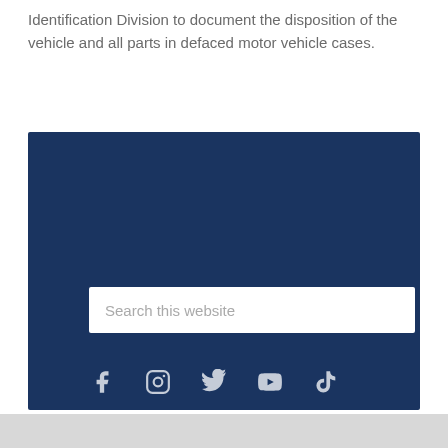Identification Division to document the disposition of the vehicle and all parts in defaced motor vehicle cases.
[Figure (screenshot): Dark navy blue footer section of a government website containing a search bar labeled 'Search this website' and five social media icons: Facebook, Instagram, Twitter/X, YouTube, and TikTok.]